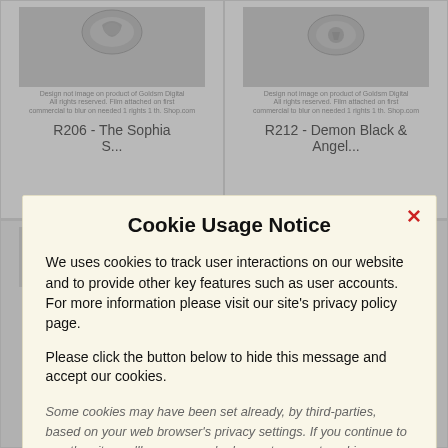R206 - The Sophia S...
R212 - Demon Black & Angel...
era Luna - Man In...
Cookie Usage Notice
We uses cookies to track user interactions on our website and to provide other key features such as user accounts. For more information please visit our site's privacy policy page.
Please click the button below to hide this message and accept our cookies.
Some cookies may have been set already, by third-parties, based on your web browser's privacy settings. If you continue to use the site, we'll assume you're happy to accept cookies.
Accept Cookies  ✓